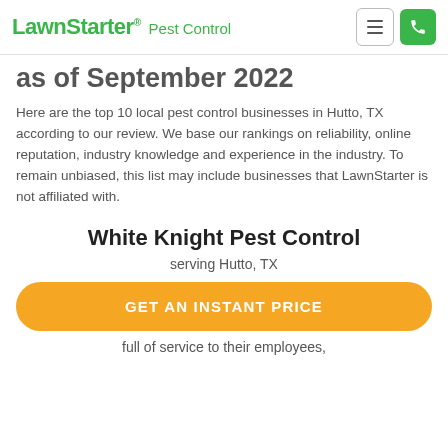LawnStarter® Pest Control
as of September 2022
Here are the top 10 local pest control businesses in Hutto, TX according to our review. We base our rankings on reliability, online reputation, industry knowledge and experience in the industry. To remain unbiased, this list may include businesses that LawnStarter is not affiliated with.
White Knight Pest Control
serving Hutto, TX
GET AN INSTANT PRICE
full of service to their employees,